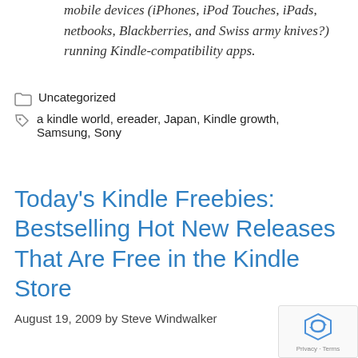mobile devices (iPhones, iPod Touches, iPads, netbooks, Blackberries, and Swiss army knives?) running Kindle-compatibility apps.
Uncategorized
a kindle world, ereader, Japan, Kindle growth, Samsung, Sony
Today's Kindle Freebies: Bestselling Hot New Releases That Are Free in the Kindle Store
August 19, 2009 by Steve Windwalker